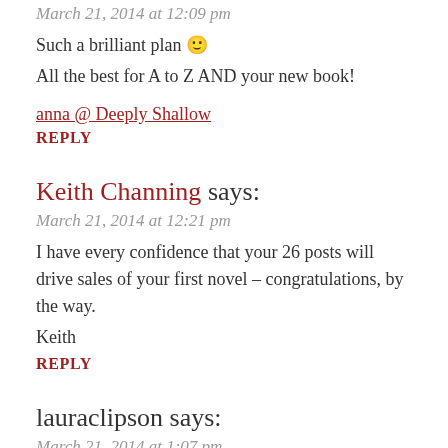March 21, 2014 at 12:09 pm
Such a brilliant plan 🙂
All the best for A to Z AND your new book!
anna @ Deeply Shallow
REPLY
Keith Channing says:
March 21, 2014 at 12:21 pm
I have every confidence that your 26 posts will drive sales of your first novel – congratulations, by the way.
Keith
REPLY
lauraclipson says:
March 21, 2014 at 1:07 pm
A great idea for a theme, looking forward to reading your posts 🙂